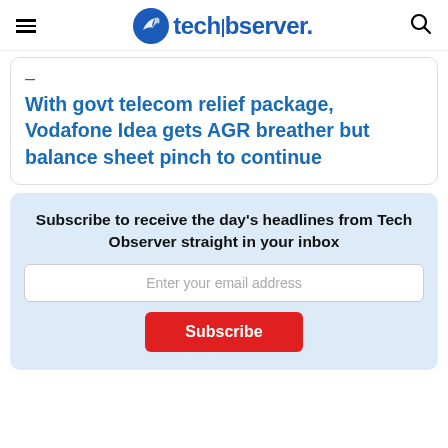techobserver.
With govt telecom relief package, Vodafone Idea gets AGR breather but balance sheet pinch to continue
Subscribe to receive the day's headlines from Tech Observer straight in your inbox